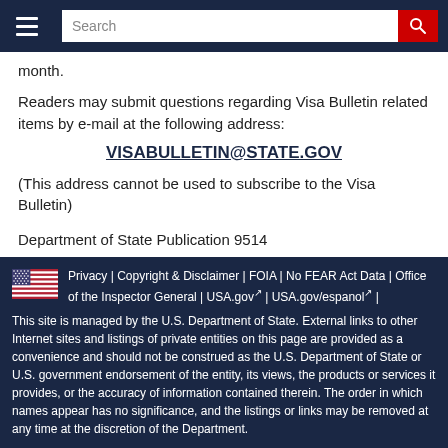Search
month.
Readers may submit questions regarding Visa Bulletin related items by e-mail at the following address:
VISABULLETIN@STATE.GOV
(This address cannot be used to subscribe to the Visa Bulletin)
Department of State Publication 9514
CA/VO: April 8, 2009
Privacy | Copyright & Disclaimer | FOIA | No FEAR Act Data | Office of the Inspector General | USA.gov | USA.gov/espanol | This site is managed by the U.S. Department of State. External links to other Internet sites and listings of private entities on this page are provided as a convenience and should not be construed as the U.S. Department of State or U.S. government endorsement of the entity, its views, the products or services it provides, or the accuracy of information contained therein. The order in which names appear has no significance, and the listings or links may be removed at any time at the discretion of the Department.